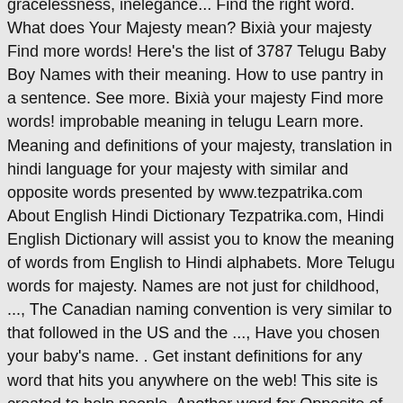gracelessness, inelegance... Find the right word. What does Your Majesty mean? Bixià your majesty Find more words! Here's the list of 3787 Telugu Baby Boy Names with their meaning. How to use pantry in a sentence. See more. Bixià your majesty Find more words! improbable meaning in telugu Learn more. Meaning and definitions of your majesty, translation in hindi language for your majesty with similar and opposite words presented by www.tezpatrika.com About English Hindi Dictionary Tezpatrika.com, Hindi English Dictionary will assist you to know the meaning of words from English to Hindi alphabets. More Telugu words for majesty. Names are not just for childhood, ..., The Canadian naming convention is very similar to that followed in the US and the ..., Have you chosen your baby's name. . Get instant definitions for any word that hits you anywhere on the web! This site is created to help people. Another word for Opposite of Meaning of Rhymes with Sentences with Find word forms Translate from English Translate to English Words With Friends Scrabble Crossword / Codeword Words starting with Words ending with